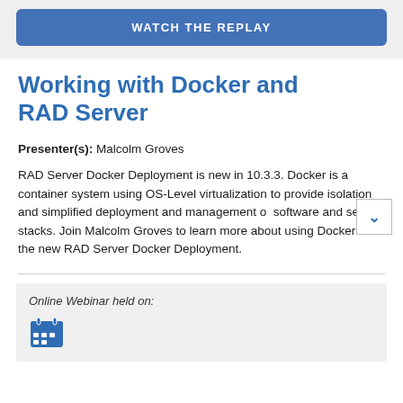[Figure (other): Blue rounded button with text WATCH THE REPLAY on a light grey background]
Working with Docker and RAD Server
Presenter(s): Malcolm Groves
RAD Server Docker Deployment is new in 10.3.3. Docker is a container system using OS-Level virtualization to provide isolation and simplified deployment and management of software and service stacks. Join Malcolm Groves to learn more about using Docker and the new RAD Server Docker Deployment.
Online Webinar held on:
[Figure (illustration): Calendar/date icon in blue at bottom of page]